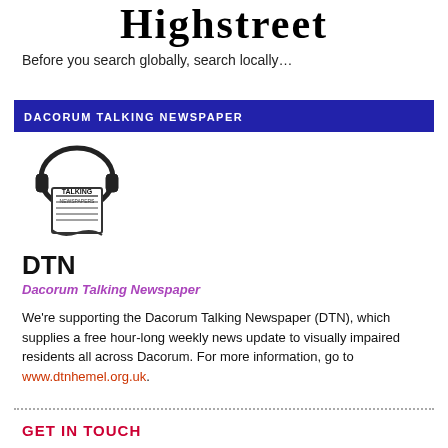Highstreet
Before you search globally, search locally…
DACORUM TALKING NEWSPAPER
[Figure (logo): Talking Newspapers logo with headphones and newspaper illustration]
DTN
Dacorum Talking Newspaper
We're supporting the Dacorum Talking Newspaper (DTN), which supplies a free hour-long weekly news update to visually impaired residents all across Dacorum. For more information, go to www.dtnhemel.org.uk.
GET IN TOUCH